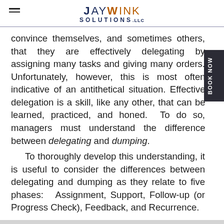JayWink Solutions, LLC
convince themselves, and sometimes others, that they are effectively delegating by assigning many tasks and giving many orders. Unfortunately, however, this is most often indicative of an antithetical situation. Effective delegation is a skill, like any other, that can be learned, practiced, and honed. To do so, managers must understand the difference between delegating and dumping.
To thoroughly develop this understanding, it is useful to consider the differences between delegating and dumping as they relate to five phases: Assignment, Support, Follow-up (or Progress Check), Feedback, and Recurrence.